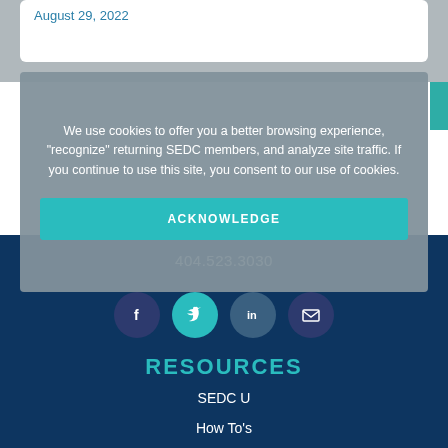August 29, 2022
We use cookies to offer you a better browsing experience, "recognize" returning SEDC members, and analyze site traffic. If you continue to use this site, you consent to our use of cookies.
ACKNOWLEDGE
404.523.3030
[Figure (infographic): Row of four circular social media icons: Facebook (dark navy), Twitter (teal), LinkedIn (dark teal), Email (dark navy)]
RESOURCES
SEDC U
How To's